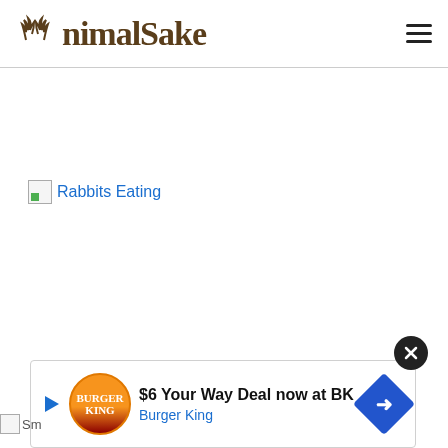AnimalSake
[Figure (other): Broken image placeholder with alt text 'Rabbits Eating']
[Figure (other): Advertisement banner: Burger King - $6 Your Way Deal now at BK]
[Figure (other): Small broken image placeholder at bottom left]